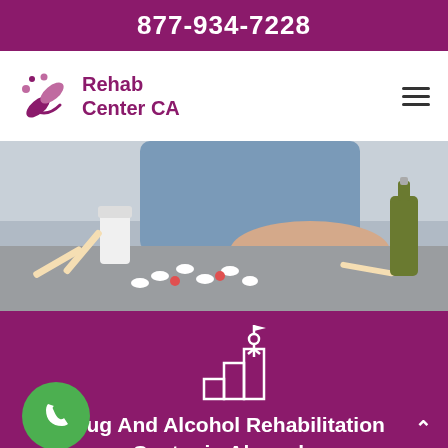877-934-7228
[Figure (logo): Rehab Center CA logo with pill/medicine icon in purple]
[Figure (photo): Photo of person with hand on table with scattered pills, cigarettes, and a wine bottle]
[Figure (illustration): White line icon of person climbing stairs to a flag on purple background]
Drug And Alcohol Rehabilitation Center in Alameda